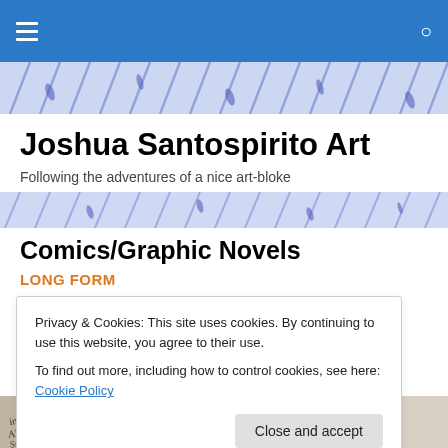Joshua Santospirito Art — navigation bar
[Figure (illustration): Header banner with blue/lavender abstract brushstroke or rain pattern on light blue background]
Joshua Santospirito Art
Following the adventures of a nice art-bloke
[Figure (illustration): Second banner stripe with blue/lavender abstract brushstroke pattern]
Comics/Graphic Novels
LONG FORM
* The Long Weekend in Alice Springs   2013: a graphic
Privacy & Cookies: This site uses cookies. By continuing to use this website, you agree to their use. To find out more, including how to control cookies, see here: Cookie Policy
[Figure (photo): Partial book cover image visible at bottom left, appears to show handwritten text 'in Alice Springs']